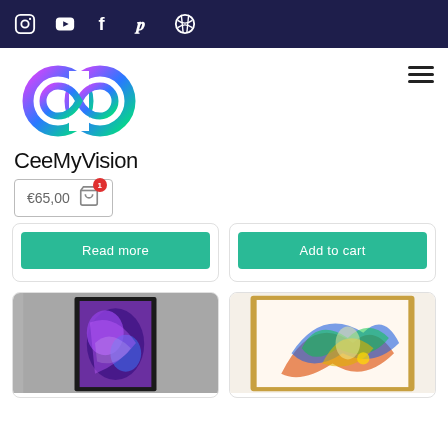Social media icons bar: Instagram, YouTube, Facebook, Pinterest, Dribbble
[Figure (logo): CeeMyVision infinity loop logo in blue, purple, green gradient]
CeeMyVision
€65,00 cart with 1 item
[Figure (screenshot): Two product cards with teal 'Read more' and 'Add to cart' buttons]
[Figure (screenshot): Two product art images - purple abstract art in black frame and colorful abstract art in gold frame]